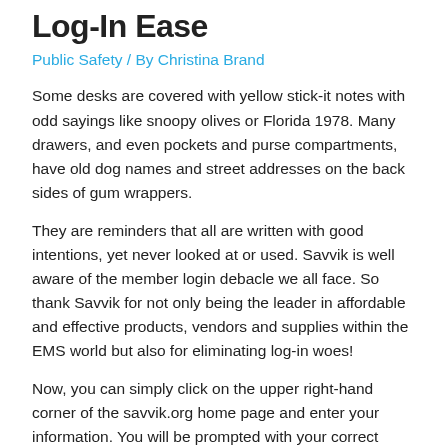Log-In Ease
Public Safety / By Christina Brand
Some desks are covered with yellow stick-it notes with odd sayings like snoopy olives or Florida 1978. Many drawers, and even pockets and purse compartments, have old dog names and street addresses on the back sides of gum wrappers.
They are reminders that all are written with good intentions, yet never looked at or used. Savvik is well aware of the member login debacle we all face. So thank Savvik for not only being the leader in affordable and effective products, vendors and supplies within the EMS world but also for eliminating log-in woes!
Now, you can simply click on the upper right-hand corner of the savvik.org home page and enter your information. You will be prompted with your correct credentials to have access to money-saving products and vendors, as well as access to the new online store. Logging into Savvik regularly will allow you consistent